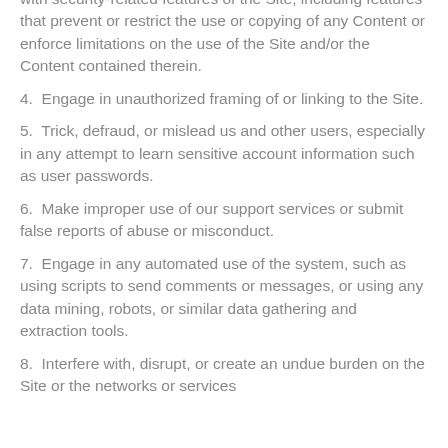with security-related features of the Site, including features that prevent or restrict the use or copying of any Content or enforce limitations on the use of the Site and/or the Content contained therein.
4.  Engage in unauthorized framing of or linking to the Site.
5.  Trick, defraud, or mislead us and other users, especially in any attempt to learn sensitive account information such as user passwords.
6.  Make improper use of our support services or submit false reports of abuse or misconduct.
7.  Engage in any automated use of the system, such as using scripts to send comments or messages, or using any data mining, robots, or similar data gathering and extraction tools.
8.  Interfere with, disrupt, or create an undue burden on the Site or the networks or services